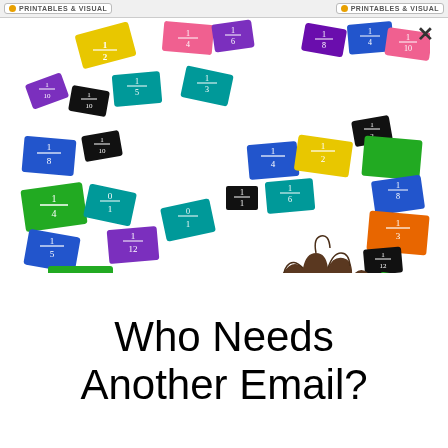PRINTABLES & VISUAL
[Figure (photo): A child's hand holding a small black fraction card (1/1) surrounded by colorful fraction tiles/cards scattered on a white background. Cards are in various colors: blue, green, teal, purple, orange, yellow, pink, black, showing different fractions.]
Who Needs Another Email?